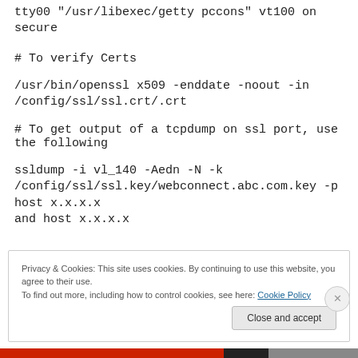tty00 "/usr/libexec/getty pccons" vt100 on secure
# To verify Certs
/usr/bin/openssl x509 -enddate -noout -in /config/ssl/ssl.crt/.crt
# To get output of a tcpdump on ssl port, use the following
ssldump -i vl_140 -Aedn -N -k /config/ssl/ssl.key/webconnect.abc.com.key -p host x.x.x.x and host x.x.x.x
Privacy & Cookies: This site uses cookies. By continuing to use this website, you agree to their use.
To find out more, including how to control cookies, see here: Cookie Policy